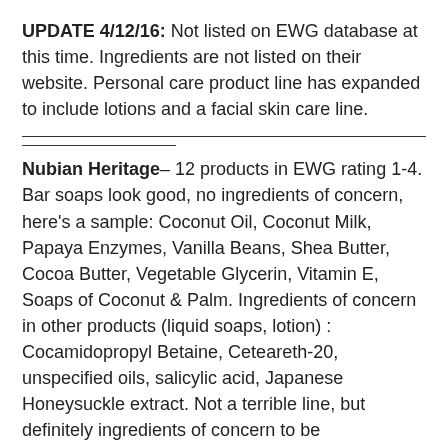UPDATE 4/12/16: Not listed on EWG database at this time. Ingredients are not listed on their website. Personal care product line has expanded to include lotions and a facial skin care line.
Nubian Heritage– 12 products in EWG rating 1-4. Bar soaps look good, no ingredients of concern, here's a sample: Coconut Oil, Coconut Milk, Papaya Enzymes, Vanilla Beans, Shea Butter, Cocoa Butter, Vegetable Glycerin, Vitamin E, Soaps of Coconut & Palm. Ingredients of concern in other products (liquid soaps, lotion) : Cocamidopropyl Betaine, Ceteareth-20, unspecified oils, salicylic acid, Japanese Honeysuckle extract. Not a terrible line, but definitely ingredients of concern to be